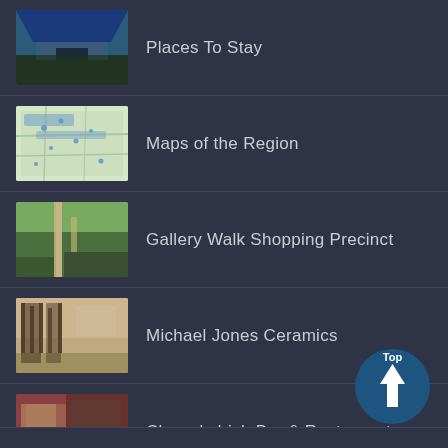Places To Stay
Maps of the Region
Gallery Walk Shopping Precinct
Michael Jones Ceramics
Clancy's Irish Bar & Restaurant
[Figure (illustration): Top/scroll-to-top button with upward arrow]